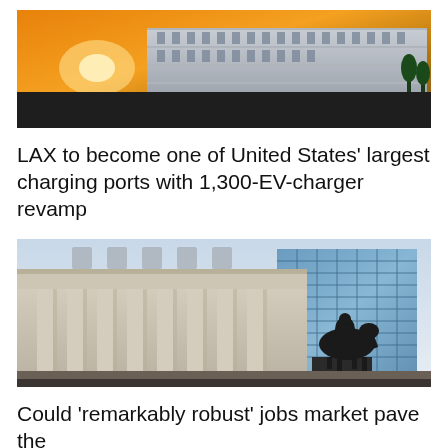[Figure (photo): Exterior of a large modern building/parking structure at sunset with warm orange sky]
LAX to become one of United States' largest charging ports with 1,300-EV-charger revamp
[Figure (photo): Classical columned building facade (resembling a bank or government building) with an equestrian statue in foreground and a modern glass skyscraper in background]
Could 'remarkably robust' jobs market pave the